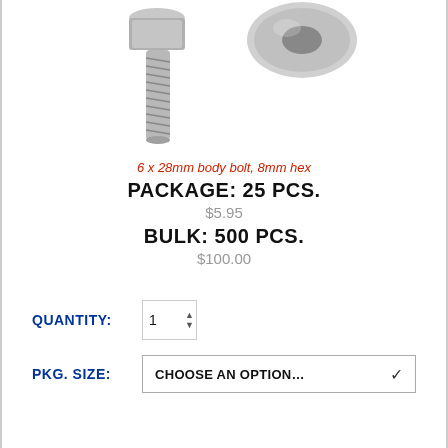[Figure (photo): A metallic bolt/screw with threaded shaft on the left and a round washer/bolt head on the upper right, both shown on white background]
6 x 28mm body bolt, 8mm hex
PACKAGE: 25 PCS.
$5.95
BULK: 500 PCS.
$100.00
QUANTITY:
PKG. SIZE: